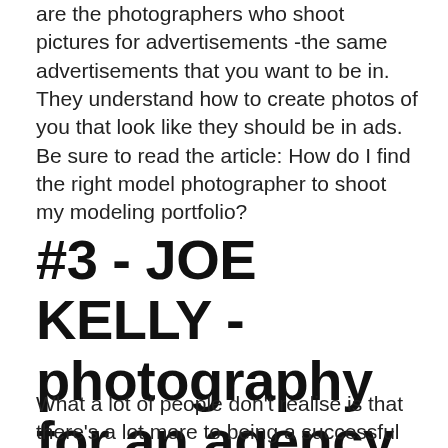are the photographers who shoot pictures for advertisements -the same advertisements that you want to be in. They understand how to create photos of you that look like they should be in ads. Be sure to read the article: How do I find the right model photographer to shoot my modeling portfolio?
#3 - JOE KELLY - photography for an agency & photographer/model
What a lot of people don't realise is that there's a lot more to being a successful model than simply